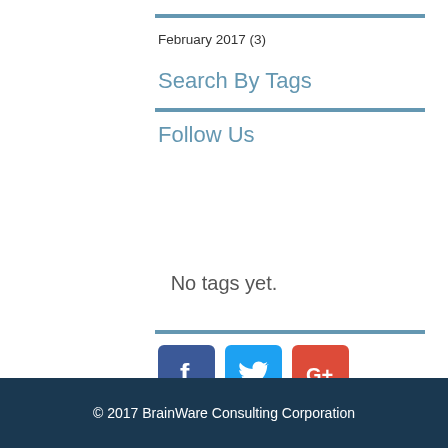February 2017 (3)
Search By Tags
Follow Us
No tags yet.
[Figure (other): Social media icons: Facebook, Twitter, Google+]
© 2017 BrainWare Consulting Corporation